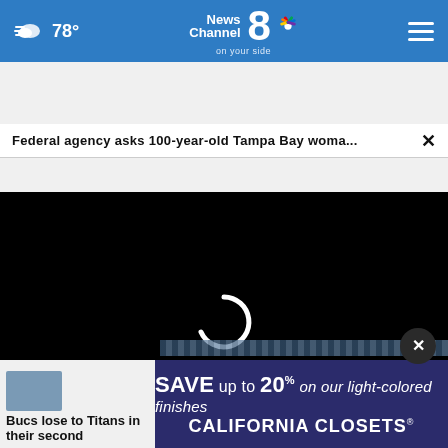78° News Channel 8 on your side
Federal agency asks 100-year-old Tampa Bay woma...
[Figure (screenshot): Black video player area with white circular loading spinner in the center]
MORE
[Figure (infographic): California Closets advertisement: SAVE up to 20% on our light-colored finishes CALIFORNIA CLOSETS]
Bucs lose to Titans in their second